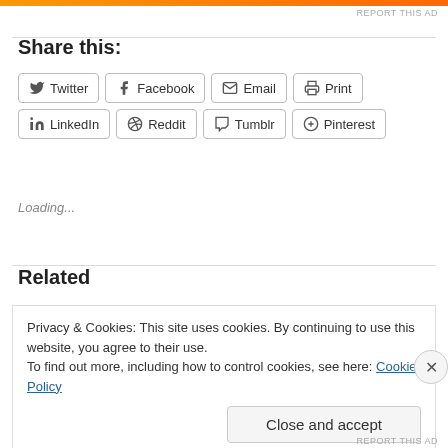Share this:
Twitter
Facebook
Email
Print
LinkedIn
Reddit
Tumblr
Pinterest
Loading...
Related
Privacy & Cookies: This site uses cookies. By continuing to use this website, you agree to their use. To find out more, including how to control cookies, see here: Cookie Policy
Close and accept